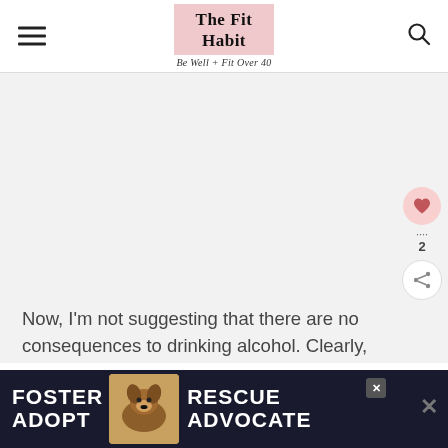The Fit Habit — Be Well + Fit Over 40
[Figure (other): Large empty/white image area below the header, taking up most of the page middle section]
Now, I'm not suggesting that there are no consequences to drinking alcohol. Clearly,
[Figure (photo): Advertisement banner at bottom: FOSTER ADOPT with dog photo, RESCUE ADVOCATE]